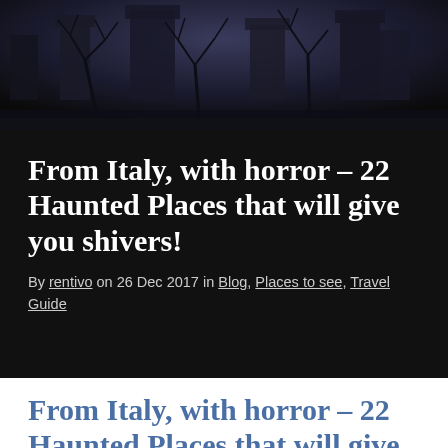[Figure (photo): Dark atmospheric image of a graveyard or gothic landscape with silhouetted bare trees and tombstone-like shapes against a dark stormy sky]
From Italy, with horror – 22 Haunted Places that will give you shivers!
By rentivo on 26 Dec 2017 in Blog, Places to see, Travel Guide
From Italy, with horror – 22 Haunted Places that will give you shivers!